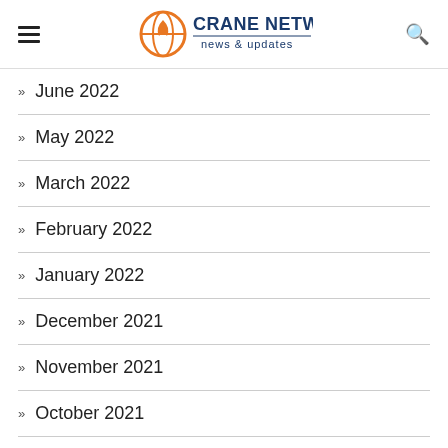Crane Network news & updates
June 2022
May 2022
March 2022
February 2022
January 2022
December 2021
November 2021
October 2021
September 2021